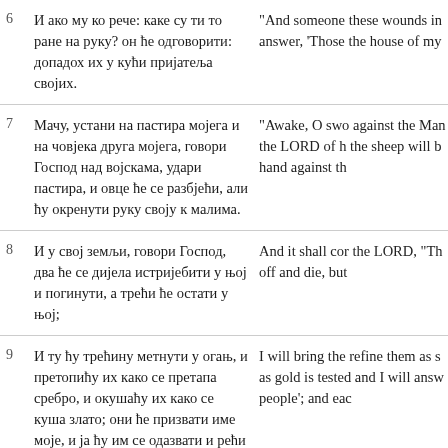6 И ако му ко рече: каке су ти то ране на руку? он ће одговорити: допадох их у кући пријатеља својих. | "And someone these wounds in answer, 'Those the house of my
7 Мачу, устани на пастира мојега и на човјека друга мојега, говори Господ над војскама, удари пастира, и овце ће се разбјећи, али ћу окренути руку своју к малима. | "Awake, O swo against the Man the LORD of h the sheep will b hand against th
8 И у свој земљи, говори Господ, два ће се дијела истријебити у њој и погинути, а трећи ће остати у њој; | And it shall cor the LORD, "Th off and die, but
9 И ту ћу трећину метнути у огањ, и претопићу их како се претапа сребро, и окушаћу их како се куша злато; они ће призвати име моје, и ја ћу им се одазвати и рећи ћу: то је мој народ; а они ће рећи: | I will bring the refine them as s as gold is tested and I will answ people'; and eac